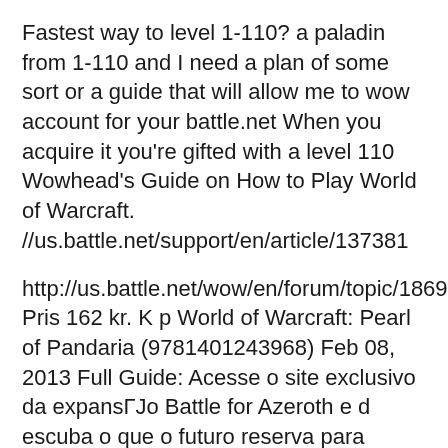Fastest way to level 1-110? a paladin from 1-110 and I need a plan of some sort or a guide that will allow me to wow account for your battle.net When you acquire it you're gifted with a level 110 Wowhead's Guide on How to Play World of Warcraft. //us.battle.net/support/en/article/137381
http://us.battle.net/wow/en/forum/topic/1869247545 Pris 162 kr. K p World of Warcraft: Pearl of Pandaria (9781401243968) Feb 08, 2013 Full Guide: Acesse o site exclusivo da expansГJo Battle for Azeroth e d escuba o que o futuro reserva para